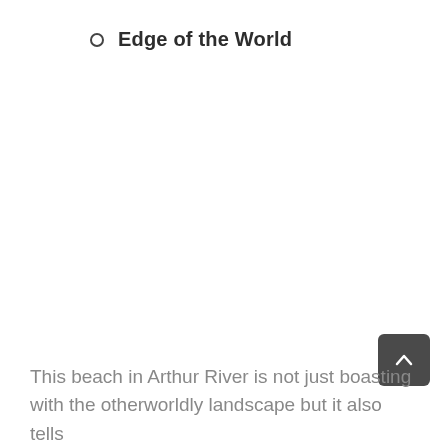Edge of the World
[Figure (other): Back to top button — dark rounded square with upward chevron arrow icon]
This beach in Arthur River is not just boasting with the otherworldly landscape but it also tells